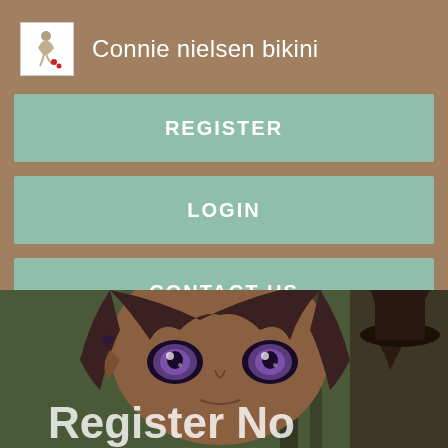Connie nielsen bikini
REGISTER
LOGIN
CONTACT US
[Figure (screenshot): Anime character face close-up with purple eyes and dark hair, overlaid with partial text 'Register No']